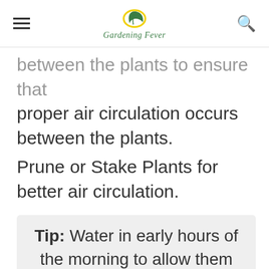Gardening Fever
between the plants to ensure that proper air circulation occurs between the plants.
Prune or Stake Plants for better air circulation.
Tip: Water in early hours of the morning to allow them